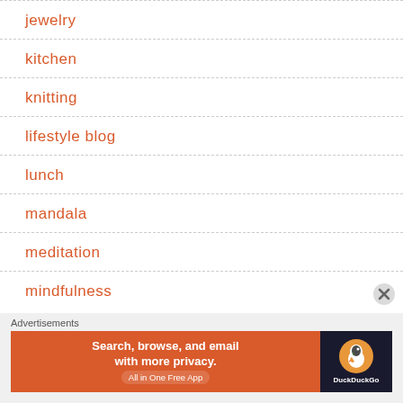jewelry
kitchen
knitting
lifestyle blog
lunch
mandala
meditation
mindfulness
[Figure (screenshot): DuckDuckGo advertisement banner: 'Search, browse, and email with more privacy. All in One Free App']